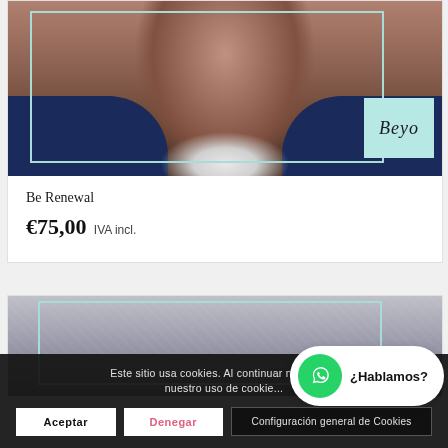[Figure (photo): Product photo: man's face (neck and lower face visible, grey beard, navy jacket, white shirt) with teal rectangular frame overlay and Beyo brand logo badge in lower right]
Be Renewal
€75,00 IVA incl.
[Figure (photo): Second product photo partially visible, grey textured surface with teal frame overlay]
Este sitio usa cookies. Al continuar navegan... nuestro uso de cookie...
Aceptar
Denegar
Configuración general de Cookies
¿Hablamos?